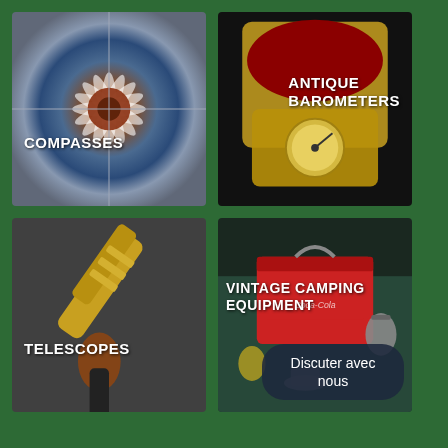[Figure (photo): Close-up photo of an antique compass with decorative sun/flower pattern, reddish center, blue and white tones. Label: COMPASSES]
[Figure (photo): Antique barometer in an open gold-toned case with red velvet lining, showing brass instrument. Label: ANTIQUE BAROMETERS]
[Figure (photo): Antique brass and leather telescope on dark background. Label: TELESCOPES]
[Figure (photo): Vintage camping equipment including a red metal cooler/box, lanterns, and camp stove on dark background. Label: VINTAGE CAMPING EQUIPMENT with chat bubble saying Discuter avec nous]